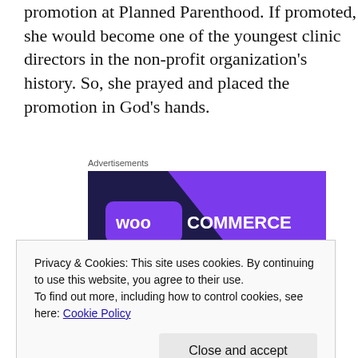promotion at Planned Parenthood.  If promoted, she would become one of the youngest clinic directors in the non-profit organization's history.   So, she prayed and placed the promotion in God's hands.
Advertisements
[Figure (screenshot): WooCommerce advertisement banner with purple/dark background and text 'Turn your hobby into a business in 5 steps']
Privacy & Cookies: This site uses cookies. By continuing to use this website, you agree to their use.
To find out more, including how to control cookies, see here: Cookie Policy
Close and accept
the the to the blot that the area in a him after Ren